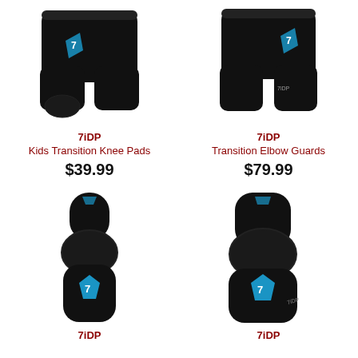[Figure (photo): 7iDP Kids Transition Knee Pads - black shorts with blue 7iDP logo]
7iDP
Kids Transition Knee Pads
$39.99
[Figure (photo): 7iDP Transition Elbow Guards - black shorts with blue 7iDP logo]
7iDP
Transition Elbow Guards
$79.99
[Figure (photo): 7iDP elbow/knee pad - black with teal 7iDP logo, single pad]
7iDP
[Figure (photo): 7iDP knee pad - black compression sleeve with teal 7iDP logo]
7iDP